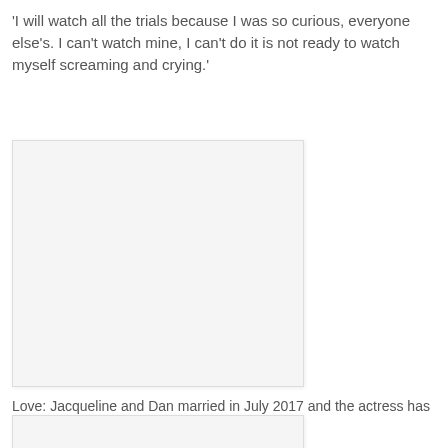'I will watch all the trials because I was so curious, everyone else's. I can't watch mine, I can't do it is not ready to watch myself screaming and crying.'
[Figure (photo): A blank/white rectangular image placeholder]
Love: Jacqueline and Dan married in July 2017 and the actress has said she wants to 'restart their relationship'
[Figure (photo): A partially visible blank/white rectangular image placeholder at the bottom of the page]